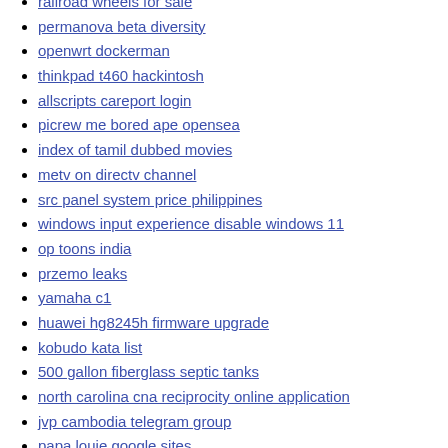railroad wheels for sale
permanova beta diversity
openwrt dockerman
thinkpad t460 hackintosh
allscripts careport login
picrew me bored ape opensea
index of tamil dubbed movies
metv on directv channel
src panel system price philippines
windows input experience disable windows 11
op toons india
przemo leaks
yamaha c1
huawei hg8245h firmware upgrade
kobudo kata list
500 gallon fiberglass septic tanks
north carolina cna reciprocity online application
jvp cambodia telegram group
papa louie google sites
kawasaki kx112 horsepower
team solidsquad error 6
secoclient mac download
satoshi btcs mall
spaceclaim script parameters
sims 4 mod teenage romance